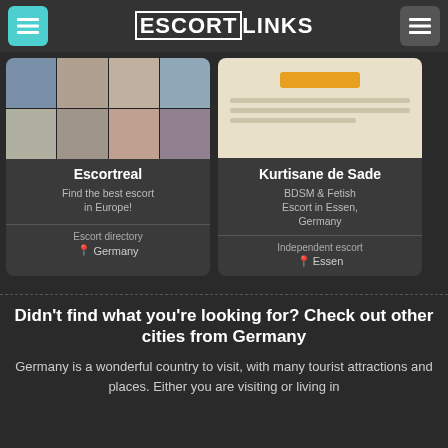ESCORTLINKS
[Figure (screenshot): Card for Escortreal showing a photo grid mosaic of women]
Escortreal
Find the best escort in Europe!
Escort directory 📍 Germany
[Figure (screenshot): Card for Kurtisane de Sade showing a document-like beige image with an orange button]
Kurtisane de Sade
BDSM & Fetish Escort in Essen, Germany
Independent escort 📍 Essen
Didn't find what you're looking for? Check out other cities from Germany
Germany is a wonderful country to visit, with many tourist attractions and places. Either you are visiting or living in